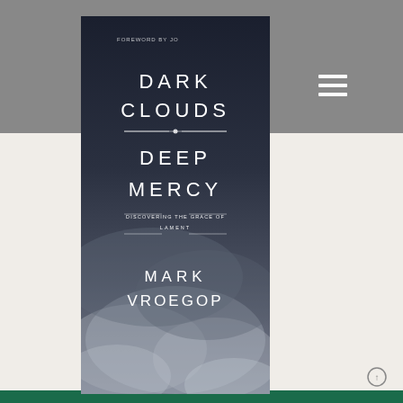[Figure (logo): Wesley Chapel logo with stylized W/slash mark and text 'wesley CHAPEL' in white on grey navigation bar]
[Figure (illustration): Hamburger menu icon (three horizontal lines) on grey navigation bar]
[Figure (photo): Book cover for 'Dark Clouds Deep Mercy: Discovering the Grace of Lament' by Mark Vroegop, with foreword by John (Piper?). Dark cloudy sky background with white text. Decorative line divider between 'Clouds' and 'Deep'. Publisher's subtitle 'Discovering the Grace of Lament'.]
Green footer bar at bottom of page